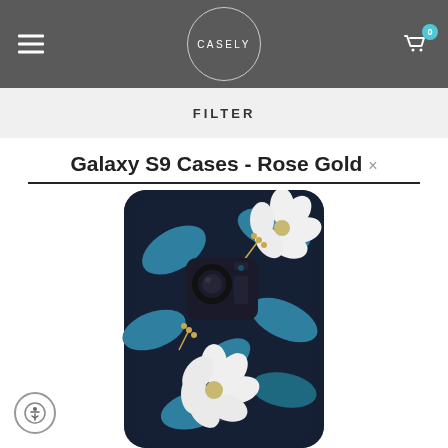CASELY
FILTER
Galaxy S9 Cases - Rose Gold ×
[Figure (photo): A Samsung Galaxy S9 smartphone case with a dark navy background decorated with white flowers, teal/blue leaves, and gold botanical accents.]